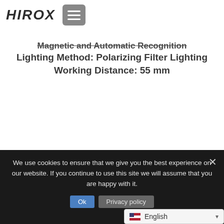HiROX [menu button]
Magnetic and Automatic Recognition
Lighting Method: Polarizing Filter Lighting
Working Distance: 55 mm
We use cookies to ensure that we give you the best experience on our website. If you continue to use this site we will assume that you are happy with it.
Ok  Privacy policy
English